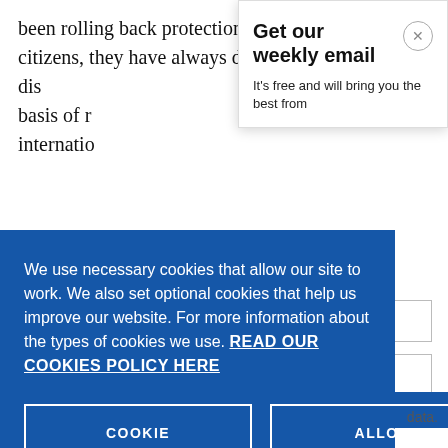been rolling back protections once afforded to citizens, they have always discriminated, and today dis[criminated on the] basis of r[ace and] internatio[nal law]
Get our weekly email
It's free and will bring you the best from
We use necessary cookies that allow our site to work. We also set optional cookies that help us improve our website. For more information about the types of cookies we use. READ OUR COOKIES POLICY HERE
COOKIE SETTINGS
ALLOW ALL COOKIES
data.
on gende[r]